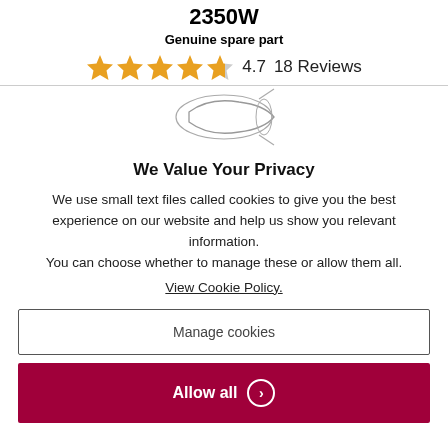2350W
Genuine spare part
4.7   18 Reviews
[Figure (illustration): Partial product image showing a vacuum cleaner attachment/nozzle outlined in sketch style]
We Value Your Privacy
We use small text files called cookies to give you the best experience on our website and help us show you relevant information.
You can choose whether to manage these or allow them all.
View Cookie Policy.
Manage cookies
Allow all